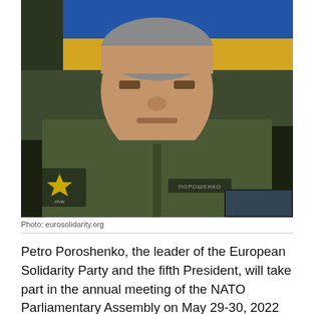[Figure (photo): Petro Poroshenko, wearing a dark olive military-style jacket with a 'Poroshenko' name patch, sitting in front of a Ukrainian flag (blue and yellow). He has gray hair and a serious expression.]
Photo: eurosolidarity.org
Petro Poroshenko, the leader of the European Solidarity Party and the fifth President, will take part in the annual meeting of the NATO Parliamentary Assembly on May 29-30, 2022 as a member of the Ukrainian parliamentary delegation. It is expected that, in addition to participating in the Assembly, the leader of European Solidarity will hold several